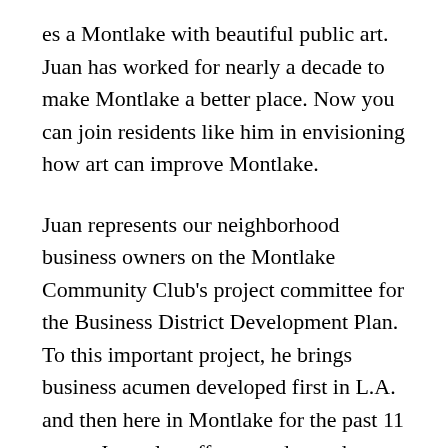es a Montlake with beautiful public art. Juan has worked for nearly a decade to make Montlake a better place. Now you can join residents like him in envisioning how art can improve Montlake.
Juan represents our neighborhood business owners on the Montlake Community Club's project committee for the Business District Development Plan. To this important project, he brings business acumen developed first in L.A. and then here in Montlake for the past 11 years. Juan also offers an educated design sensibility, natural friendliness and finely honed listening skills. A most interesting man, indeed, but there's more, as your intrepid reporter discovered recently.
Step into Juan Lopez's domain, Glam & Tonics Aveda